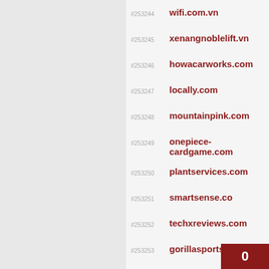#253244 wifi.com.vn
#253245 xenangnoblelift.vn
#253246 howacarworks.com
#253247 locally.com
#253248 mountainpink.com
#253249 onepiece-cardgame.com
#253250 plantservices.com
#253251 smartsense.co
#253252 techxreviews.com
#253253 gorillasports.nl
#253254 mmc.nl
#253255 timechimp.com
0